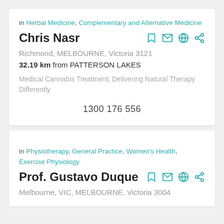in Herbal Medicine, Complementary and Alternative Medicine
Chris Nasr
Richmond, MELBOURNE, Victoria 3121
32.19 km from PATTERSON LAKES
Medical Cannabis Treatment; Delivering Natural Therapy Differently
1300 176 556
in Physiotherapy, General Practice, Women's Health, Exercise Physiology
Prof. Gustavo Duque
Melbourne, VIC, MELBOURNE, Victoria 3004